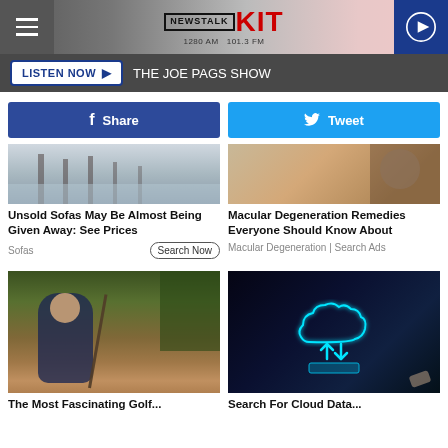NEWSTALK KIT 1280 AM 101.3 FM
LISTEN NOW ▶  THE JOE PAGS SHOW
f Share
Tweet
[Figure (photo): Sofa/dock scene]
Unsold Sofas May Be Almost Being Given Away: See Prices
Sofas  Search Now
[Figure (photo): Woman touching her hair]
Macular Degeneration Remedies Everyone Should Know About
Macular Degeneration | Search Ads
[Figure (photo): Female golfer crouching on course]
[Figure (photo): Cloud computing glowing icon on dark background]
The Most Fascinating Golf...
Search For Cloud Data...